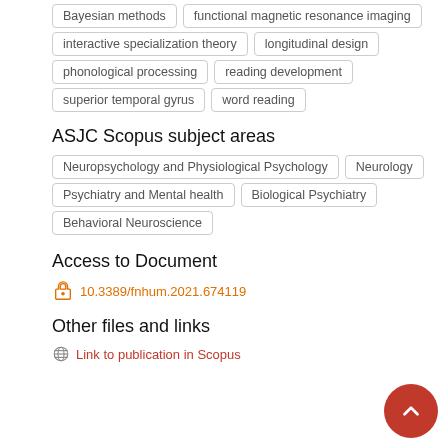Bayesian methods
functional magnetic resonance imaging
interactive specialization theory
longitudinal design
phonological processing
reading development
superior temporal gyrus
word reading
ASJC Scopus subject areas
Neuropsychology and Physiological Psychology
Neurology
Psychiatry and Mental health
Biological Psychiatry
Behavioral Neuroscience
Access to Document
10.3389/fnhum.2021.674119
Other files and links
Link to publication in Scopus